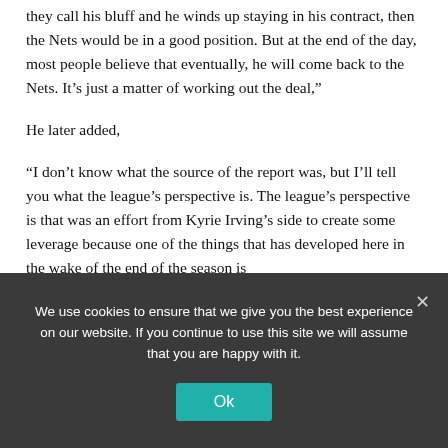they call his bluff and he winds up staying in his contract, then the Nets would be in a good position. But at the end of the day, most people believe that eventually, he will come back to the Nets. It’s just a matter of working out the deal,”
He later added,
“I don’t know what the source of the report was, but I’ll tell you what the league’s perspective is. The league’s perspective is that was an effort from Kyrie Irving’s side to create some leverage because one of the things that has developed here in the wake of the end of the season is
We use cookies to ensure that we give you the best experience on our website. If you continue to use this site we will assume that you are happy with it.